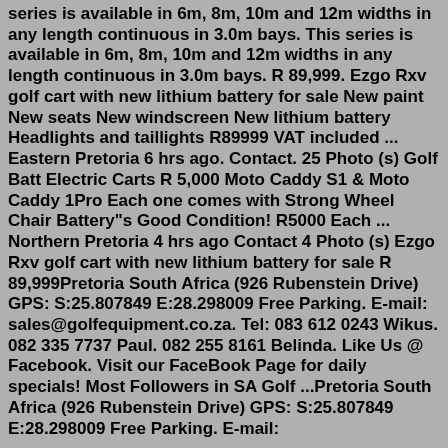series is available in 6m, 8m, 10m and 12m widths in any length continuous in 3.0m bays. This series is available in 6m, 8m, 10m and 12m widths in any length continuous in 3.0m bays. R 89,999. Ezgo Rxv golf cart with new lithium battery for sale New paint New seats New windscreen New lithium battery Headlights and taillights R89999 VAT included ... Eastern Pretoria 6 hrs ago. Contact. 25 Photo (s) Golf Batt Electric Carts R 5,000 Moto Caddy S1 & Moto Caddy 1Pro Each one comes with Strong Wheel Chair Battery"s Good Condition! R5000 Each ... Northern Pretoria 4 hrs ago Contact 4 Photo (s) Ezgo Rxv golf cart with new lithium battery for sale R 89,999Pretoria South Africa (926 Rubenstein Drive) GPS: S:25.807849 E:28.298009 Free Parking. E-mail: sales@golfequipment.co.za. Tel: 083 612 0243 Wikus. 082 335 7737 Paul. 082 255 8161 Belinda. Like Us @ Facebook. Visit our FaceBook Page for daily specials! Most Followers in SA Golf ...Pretoria South Africa (926 Rubenstein Drive) GPS: S:25.807849 E:28.298009 Free Parking. E-mail: